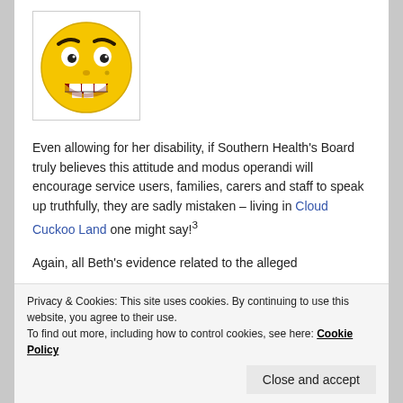[Figure (illustration): An angry/shouting emoji face illustration — round yellow face with furrowed brows, wide open mouth showing teeth, on white background inside a bordered box.]
Even allowing for her disability, if Southern Health's Board truly believes this attitude and modus operandi will encourage service users, families, carers and staff to speak up truthfully, they are sadly mistaken – living in Cloud Cuckoo Land one might say!³
Again, all Beth's evidence related to the alleged
Privacy & Cookies: This site uses cookies. By continuing to use this website, you agree to their use.
To find out more, including how to control cookies, see here: Cookie Policy
Close and accept